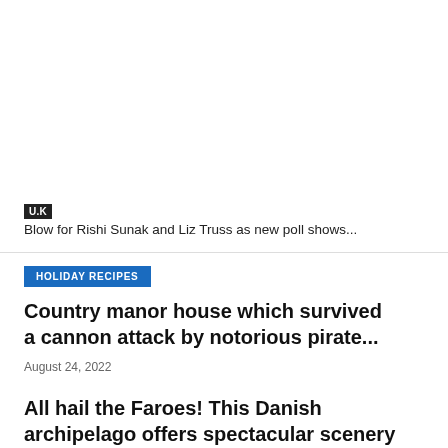U.K
Blow for Rishi Sunak and Liz Truss as new poll shows...
HOLIDAY RECIPES
Country manor house which survived a cannon attack by notorious pirate...
August 24, 2022
All hail the Faroes! This Danish archipelago offers spectacular scenery and...